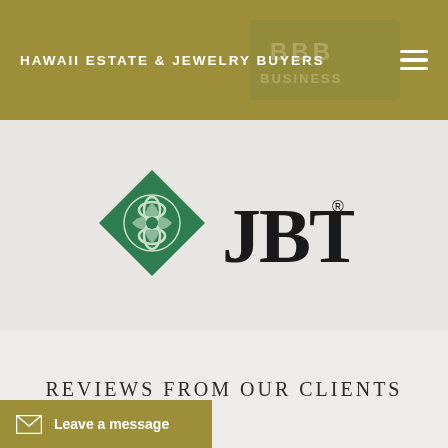HAWAII ESTATE & JEWELRY BUYERS
[Figure (logo): JBT jewelers board of trade logo with green diamond and interlocking design, text JBT with registered trademark symbol]
REVIEWS FROM OUR CLIENTS
Leave a message